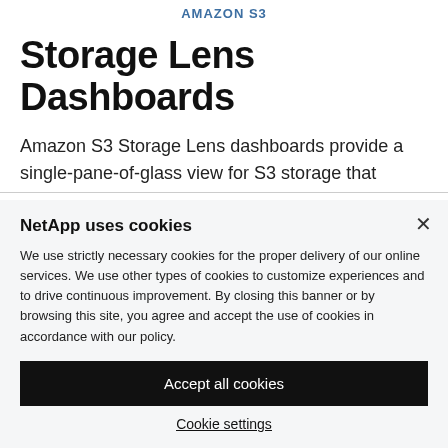AMAZON S3
Storage Lens Dashboards
Amazon S3 Storage Lens dashboards provide a single-pane-of-glass view for S3 storage that
NetApp uses cookies
We use strictly necessary cookies for the proper delivery of our online services. We use other types of cookies to customize experiences and to drive continuous improvement. By closing this banner or by browsing this site, you agree and accept the use of cookies in accordance with our policy.
Accept all cookies
Cookie settings